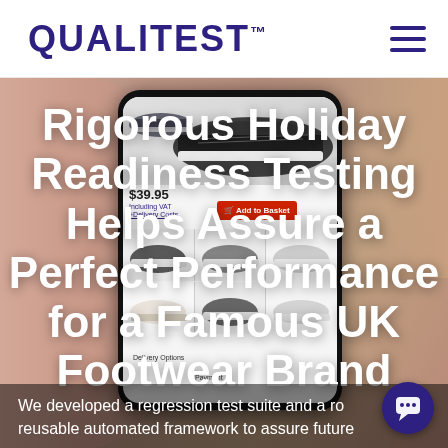QUALITEST™
[Figure (photo): Hand holding a smartphone showing a UK footwear e-commerce product page with sneakers, price, Add to Basket button, and delivery options]
Rigorous Holiday Readiness Testing Helps Assure a Perfect Performance for a Famous UK Footwear Brand
We developed a regression test suite and a ro reusable automated framework to assure future